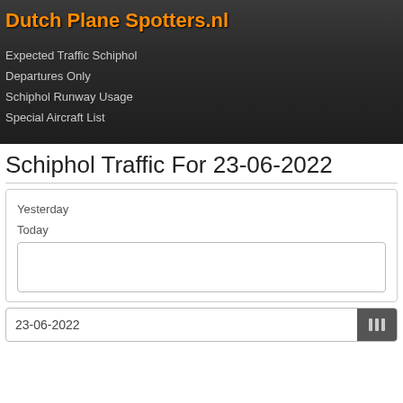Dutch Plane Spotters.nl
Expected Traffic Schiphol
Departures Only
Schiphol Runway Usage
Special Aircraft List
Schiphol Traffic For 23-06-2022
Yesterday
Today
23-06-2022